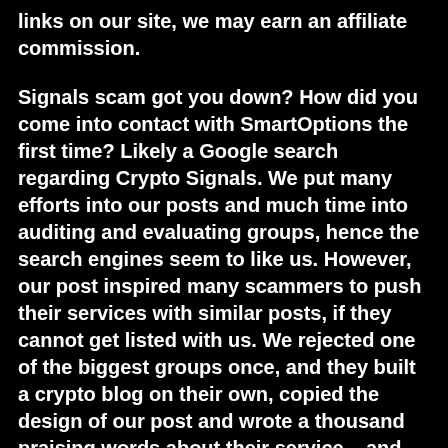links on our site, we may earn an affiliate commission.
Signals scam got you down? How did you come into contact with SmartOptions the first time? Likely a Google search regarding Crypto Signals. We put many efforts into our posts and much time into auditing and evaluating groups, hence the search engines seem to like us. However, our post inspired many scammers to push their services with similar posts, if they cannot get listed with us. We rejected one of the biggest groups once, and they built a crypto blog on their own, copied the design of our post and wrote a thousand praising words about their service – and they are not alone with that. Many other groups did the same to fool the people who are watching out for reliable service. But what